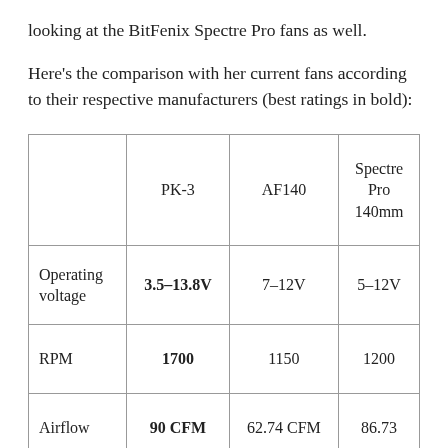looking at the BitFenix Spectre Pro fans as well.
Here’s the comparison with her current fans according to their respective manufacturers (best ratings in bold):
|  | PK-3 | AF140 | Spectre Pro 140mm |
| --- | --- | --- | --- |
| Operating voltage | 3.5-13.8V | 7-12V | 5-12V |
| RPM | 1700 | 1150 | 1200 |
| Airflow | 90 CFM | 62.74 CFM | 86.73 |